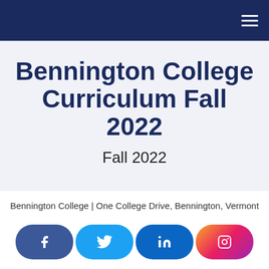Bennington College Curriculum Fall 2022
Fall 2022
Introduction to Studio Recording and Mixing
Bennington College | One College Drive, Bennington, Vermont